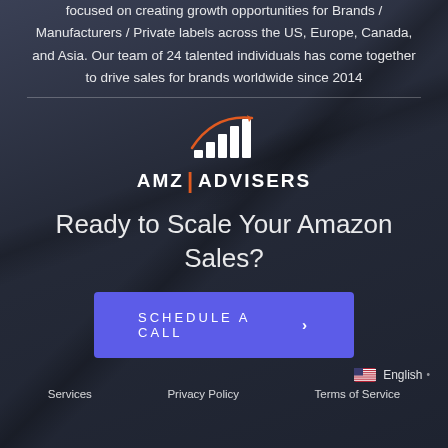focused on creating growth opportunities for Brands / Manufacturers / Private labels across the US, Europe, Canada, and Asia. Our team of 24 talented individuals has come together to drive sales for brands worldwide since 2014
[Figure (logo): AMZ Advisers logo with bar chart icon and upward curve arrow in orange, white text 'AMZ | ADVISERS']
Ready to Scale Your Amazon Sales?
Schedule a Call ›
English •
Services   Privacy Policy   Terms of Service